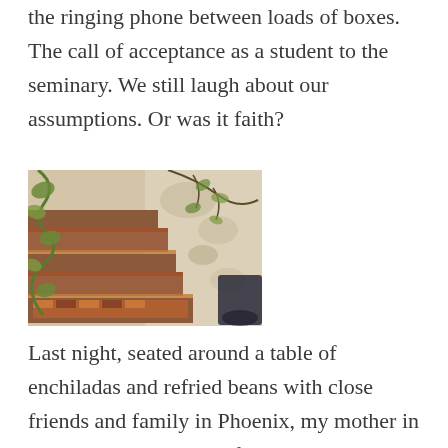the ringing phone between loads of boxes. The call of acceptance as a student to the seminary.  We still laugh about our assumptions. Or was it faith?
[Figure (photo): Photograph of decorative tiled steps with colorful mosaic risers, framed by overhanging tree branches and a light-colored stucco wall on the right.]
Last night, seated around a table of enchiladas and refried beans with close friends and family in Phoenix, my mother in law recalls a memory of that move. Laughs about how we…